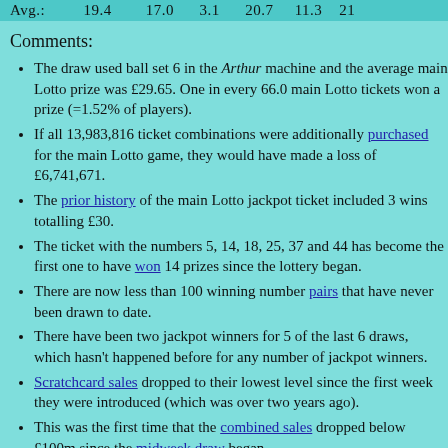Avg.:   19.4   17.0   3.1   20.7   11.3   21
Comments:
The draw used ball set 6 in the Arthur machine and the average main Lotto prize was £29.65. One in every 66.0 main Lotto tickets won a prize (=1.52% of players).
If all 13,983,816 ticket combinations were additionally purchased for the main Lotto game, they would have made a loss of £6,741,671.
The prior history of the main Lotto jackpot ticket included 3 wins totalling £30.
The ticket with the numbers 5, 14, 18, 25, 37 and 44 has become the first one to have won 14 prizes since the lottery began.
There are now less than 100 winning number pairs that have never been drawn to date.
There have been two jackpot winners for 5 of the last 6 draws, which hasn't happened before for any number of jackpot winners.
Scratchcard sales dropped to their lowest level since the first week they were introduced (which was over two years ago).
This was the first time that the combined sales dropped below £100m since the midweek draw began.
I apologise for the delayed updates and comments, which were due to the fact that the ISDN Pipeline 50 box I had at